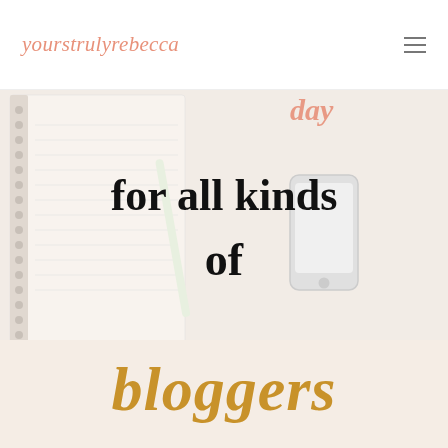yourstrulyrebecca
[Figure (photo): Blog header image showing a planner/notebook, white pen, smartphone, and decorative gold glitter 'bloggers' word art on a pink/cream background. Overlaid text reads 'for all kinds of bloggers' in bold black serif and gold script fonts, with pink script text partially visible at the top.]